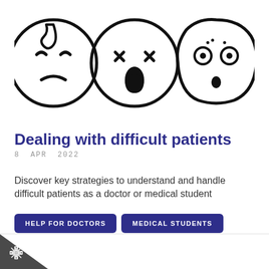[Figure (illustration): Three hand-drawn cartoon emoji faces: a sad/tired face with a teardrop, an angry/frustrated face with squinting eyes and open mouth, and a shocked/scared face with wide circular eyes and open mouth]
Dealing with difficult patients
8  APR  2022
Discover key strategies to understand and handle difficult patients as a doctor or medical student
HELP FOR DOCTORS
MEDICAL STUDENTS
MENTAL HEALTH